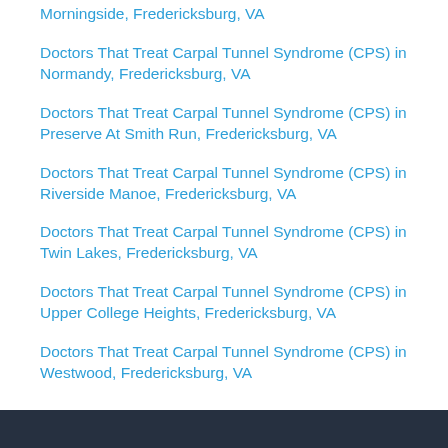Morningside, Fredericksburg, VA
Doctors That Treat Carpal Tunnel Syndrome (CPS) in Normandy, Fredericksburg, VA
Doctors That Treat Carpal Tunnel Syndrome (CPS) in Preserve At Smith Run, Fredericksburg, VA
Doctors That Treat Carpal Tunnel Syndrome (CPS) in Riverside Manoe, Fredericksburg, VA
Doctors That Treat Carpal Tunnel Syndrome (CPS) in Twin Lakes, Fredericksburg, VA
Doctors That Treat Carpal Tunnel Syndrome (CPS) in Upper College Heights, Fredericksburg, VA
Doctors That Treat Carpal Tunnel Syndrome (CPS) in Westwood, Fredericksburg, VA